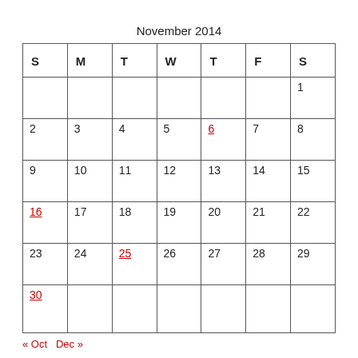November 2014
| S | M | T | W | T | F | S |
| --- | --- | --- | --- | --- | --- | --- |
|  |  |  |  |  |  | 1 |
| 2 | 3 | 4 | 5 | 6 | 7 | 8 |
| 9 | 10 | 11 | 12 | 13 | 14 | 15 |
| 16 | 17 | 18 | 19 | 20 | 21 | 22 |
| 23 | 24 | 25 | 26 | 27 | 28 | 29 |
| 30 |  |  |  |  |  |  |
« Oct   Dec »